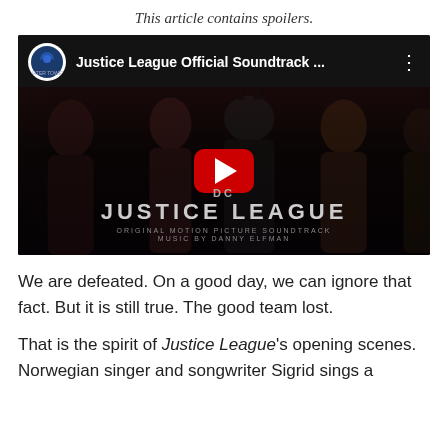This article contains spoilers.
[Figure (screenshot): YouTube video thumbnail for 'Justice League Official Soundtrack ...' showing dark promotional image of Justice League heroes with YouTube play button overlay and text 'DC JUSTICE LEAGUE ORIGINAL MOTION PICTURE SOUNDTRACK MUSIC BY DANNY ELFMAN']
We are defeated. On a good day, we can ignore that fact. But it is still true. The good team lost.
That is the spirit of Justice League's opening scenes. Norwegian singer and songwriter Sigrid sings a